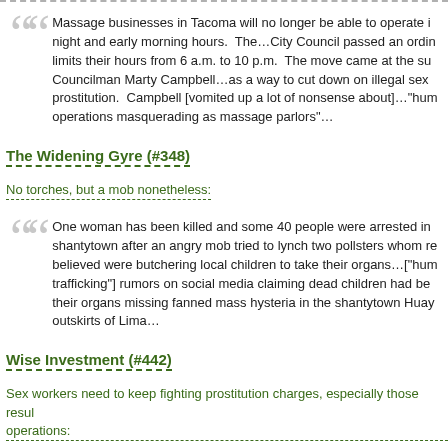Massage businesses in Tacoma will no longer be able to operate in the late night and early morning hours. The...City Council passed an ordinance that limits their hours from 6 a.m. to 10 p.m. The move came at the suggestion of Councilman Marty Campbell...as a way to cut down on illegal sex trafficking and prostitution. Campbell [vomited up a lot of nonsense about]..."human trafficking" operations masquerading as massage parlors"...
The Widening Gyre (#348)
No torches, but a mob nonetheless:
One woman has been killed and some 40 people were arrested in a Lima shantytown after an angry mob tried to lynch two pollsters whom residents believed were butchering local children to take their organs...["human trafficking"] rumors on social media claiming dead children had been found with their organs missing fanned mass hysteria in the shantytown Huaycán on the outskirts of Lima...
Wise Investment (#442)
Sex workers need to keep fighting prostitution charges, especially those resulting from stings operations: